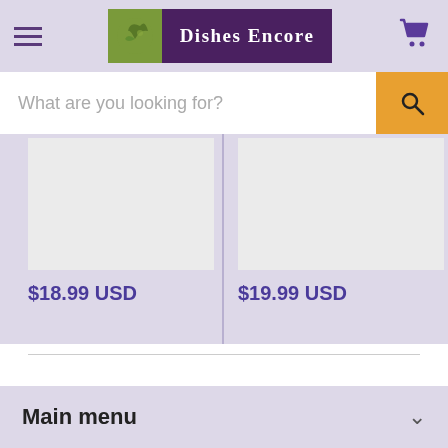Dishes Encore — navigation header with hamburger menu, logo, and cart icon
What are you looking for?
[Figure (screenshot): Product image placeholder (light gray rectangle) for item priced $18.99 USD]
$18.99 USD
[Figure (screenshot): Product image placeholder (light gray rectangle) for item priced $19.99 USD]
$19.99 USD
Main menu